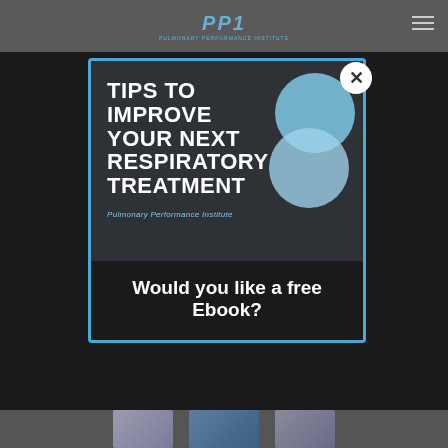[Figure (logo): PPI (Pulmonary Performance Institute) logo in blue italic letters with tagline]
[Figure (illustration): Book cover image: dark background with bold white text 'TIPS TO IMPROVE YOUR NEXT RESPIRATORY TREATMENT' with two overlapping blue circles on the right, and 'Pulmonary Performance Institute' in italic blue text at the bottom]
Would you like a free Ebook?